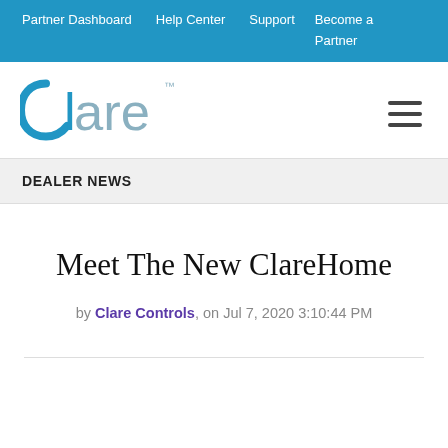Partner Dashboard  Help Center  Support  Become a Partner
[Figure (logo): Clare logo — stylized 'C' arc followed by 'lare' in light blue/grey, with trademark symbol]
DEALER NEWS
Meet The New ClareHome
by Clare Controls, on Jul 7, 2020 3:10:44 PM